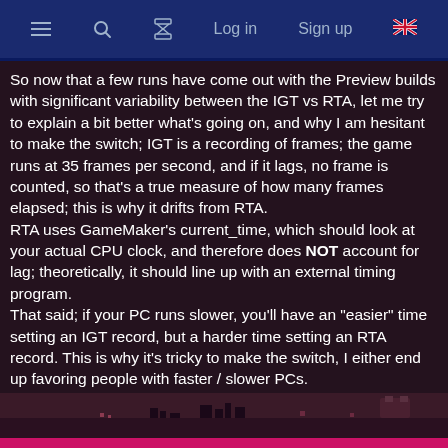≡  🔍  ⧗  Log in  Sign up  🇬🇧
So now that a few runs have come out with the Preview builds with significant variability between the IGT vs RTA, let me try to explain a bit better what's going on, and why I am hesitant to make the switch; IGT is a recording of frames; the game runs at 35 frames per second, and if it lags, no frame is counted, so that's a true measure of how many frames elapsed; this is why it drifts from RTA. RTA uses GameMaker's current_time, which should look at your actual CPU clock, and therefore does NOT account for lag; theoretically, it should line up with an external timing program. That said; if your PC runs slower, you'll have an "easier" time setting an IGT record, but a harder time setting an RTA record. This is why it's tricky to make the switch, I either end up favoring people with faster / slower PCs. Is this worth creating separate Leaderboards for IGT vs RTA? Thoughts? Suggestions?
[Figure (screenshot): Bottom portion of a video game screenshot showing dark terrain/ground elements against a dark reddish-purple background, with a bright magenta/pink bar at the very bottom.]